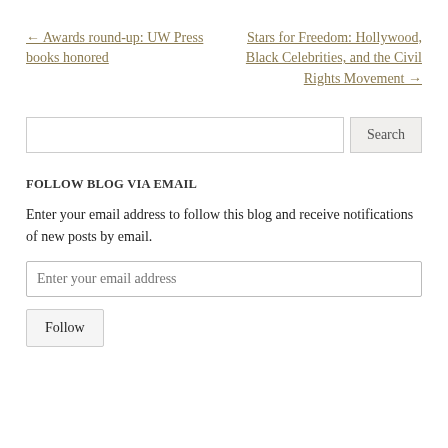← Awards round-up: UW Press books honored
Stars for Freedom: Hollywood, Black Celebrities, and the Civil Rights Movement →
Search
FOLLOW BLOG VIA EMAIL
Enter your email address to follow this blog and receive notifications of new posts by email.
Enter your email address
Follow